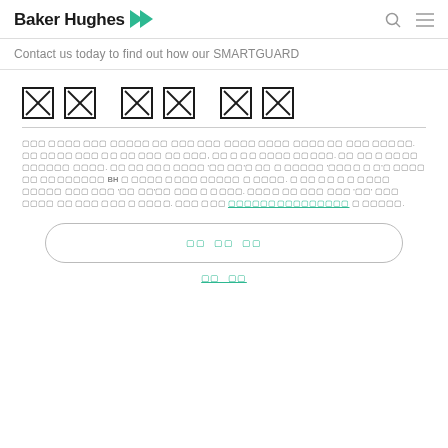Baker Hughes — Contact us today to find out how our SMARTGUARD
[tofu characters] [tofu characters] [tofu characters]
[body text in non-Latin script with BH reference and teal hyperlink]
[button: tofu tofu tofu]
[link: tofu tofu]